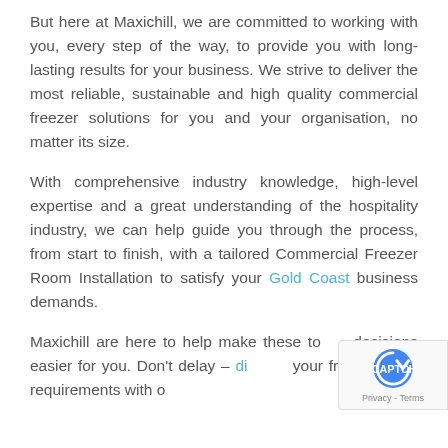But here at Maxichill, we are committed to working with you, every step of the way, to provide you with long-lasting results for your business. We strive to deliver the most reliable, sustainable and high quality commercial freezer solutions for you and your organisation, no matter its size.
With comprehensive industry knowledge, high-level expertise and a great understanding of the hospitality industry, we can help guide you through the process, from start to finish, with a tailored Commercial Freezer Room Installation to satisfy your Gold Coast business demands.
Maxichill are here to help make these tough decisions easier for you. Don't delay – discuss your freezer room requirements with our friendly and knowledgeable team.